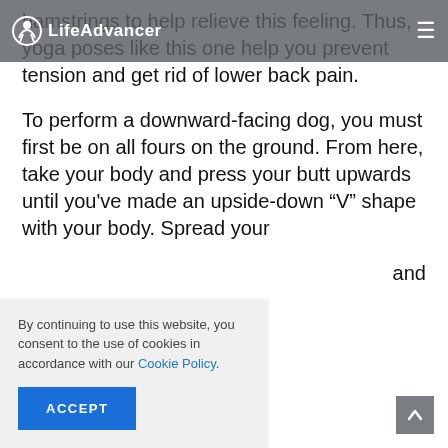LifeAdvancer
hamstrings to help relieve this feeling. Thus, yoga poses like this one help you prevent tension and get rid of lower back pain.
To perform a downward-facing dog, you must first be on all fours on the ground. From here, take your body and press your butt upwards until you've made an upside-down “V” shape with your body. Spread your … and
By continuing to use this website, you consent to the use of cookies in accordance with our Cookie Policy.
ACCEPT